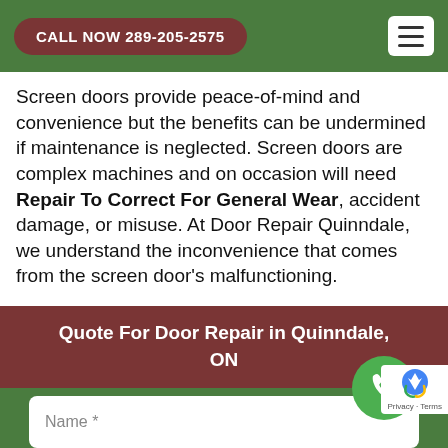CALL NOW 289-205-2575
Screen doors provide peace-of-mind and convenience but the benefits can be undermined if maintenance is neglected. Screen doors are complex machines and on occasion will need Repair To Correct For General Wear, accident damage, or misuse. At Door Repair Quinndale, we understand the inconvenience that comes from the screen door's malfunctioning.
Quote For Door Repair in Quinndale, ON
[Figure (other): Green phone call floating action button (FAB)]
[Figure (other): reCAPTCHA badge with robot icon and Privacy - Terms text]